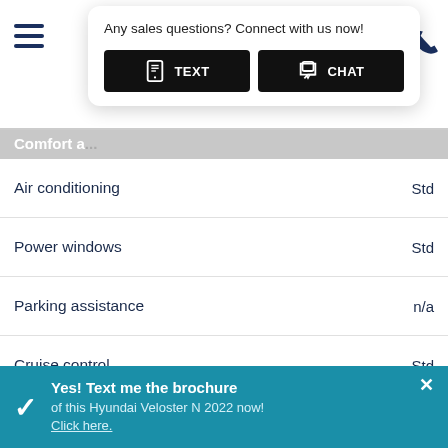[Figure (screenshot): Mobile website header with hamburger menu icon, popup dialog with TEXT and CHAT buttons, and phone icon]
| Feature | Value |
| --- | --- |
| Comfort and ... |  |
| Air conditioning | Std |
| Power windows | Std |
| Parking assistance | n/a |
| Cruise control | Std |
| Audio and Communication |  |
| 2 LCD Monitors In The Front. Fixed Antenna. Radio w/Seek-Scan, Clock, Speed Compensated Volume Control, Steering Wheel Controls and External Memory Control. Radio: Infinity AM/FM/XM/MP3 Audio System -inc: 8 speakers, external amplifier, 8.0" touch-screen display, navigation, Android Auto, Apple CarPlay, USB/auxiliary connectivity and Bluetooth hands-free phone system |  |
Yes! Text me the brochure of this Hyundai Veloster N 2022 now! Click here.